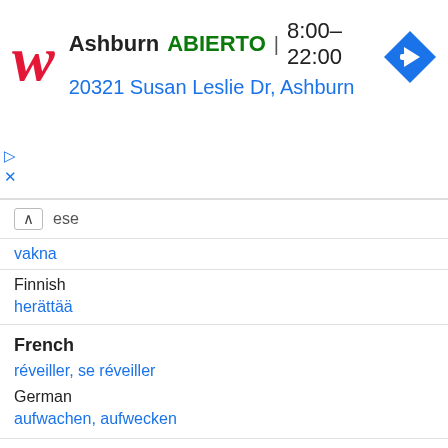[Figure (screenshot): Walgreens advertisement banner showing store in Ashburn, ABIERTO 8:00-22:00, address 20321 Susan Leslie Dr, Ashburn, with navigation icon]
ese
vakna
Finnish
herättää
French
réveiller, se réveiller
German
aufwachen, aufwecken
Hebrew
התעורר
Hungarian